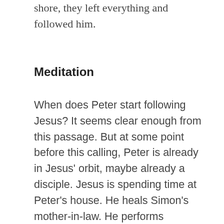shore, they left everything and followed him.
Meditation
When does Peter start following Jesus? It seems clear enough from this passage. But at some point before this calling, Peter is already in Jesus' orbit, maybe already a disciple. Jesus is spending time at Peter's house. He heals Simon's mother-in-law. He performs miracles in Peter's house in the evenings. He uses Peter's boat as a pulpit. Peter is already in a closer-than-average relationship with Jesus. He is already one to whom Jesus speaks, with whom he dwells,